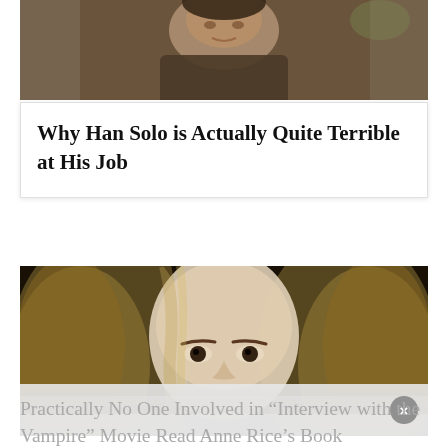[Figure (photo): Partial photo of an older man, cropped at top of page, wearing a jacket, leaning against a stone wall]
Why Han Solo is Actually Quite Terrible at His Job
[Figure (photo): Close-up photo of a person with long wavy blonde/brown hair, piercing eyes, fair complexion — appears to be from a vampire movie. Bottom portion overlaid by a semi-transparent ad banner with an X close button.]
Practically No One Involved in “Interview with the Vampire” Movie Read Anne Rice’s Book